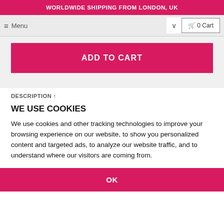WORLDWIDE SHIPPING FROM LONDON, UK
≡ Menu
0 Cart
ADD TO CART
DESCRIPTION ↑
WE USE COOKIES
We use cookies and other tracking technologies to improve your browsing experience on our website, to show you personalized content and targeted ads, to analyze our website traffic, and to understand where our visitors are coming from.
OK